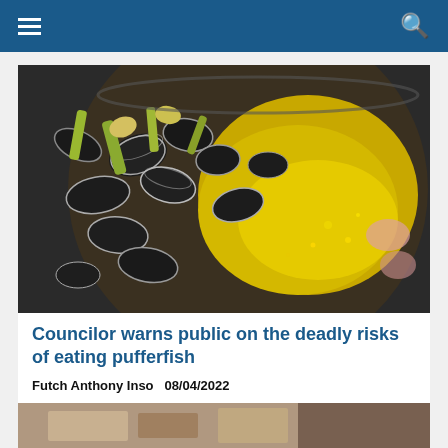Navigation bar with hamburger menu and search icon
[Figure (photo): Close-up photo of pufferfish pieces being cooked in a pot with yellow broth and green vegetable pieces]
Councilor warns public on the deadly risks of eating pufferfish
Futch Anthony Inso   08/04/2022
[Figure (photo): Partial view of a second article image at the bottom of the page]